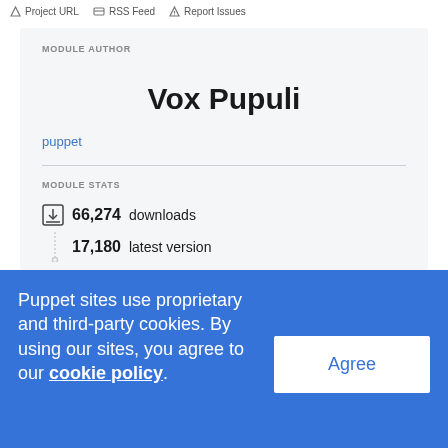Project URL   RSS Feed   Report Issues
MODULE AUTHOR
Vox Pupuli
puppet
MODULE STATS
66,274 downloads
17,180 latest version
Puppet sites use proprietary and third-party cookies. By using our sites, you agree to our cookie policy.